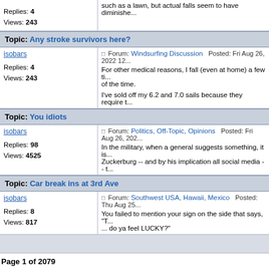Replies: 4
Views: 243
such as a lawn, but actual falls seem to have diminished...
Topic: Any stroke survivors here?
isobars
Forum: Windsurfing Discussion  Posted: Fri Aug 26, 2022 12... For other medical reasons, I fall (even at home) a few times... of the time. I've sold off my 6.2 and 7.0 sails because they require t...
Replies: 4
Views: 243
Topic: You idiots
isobars
Forum: Politics, Off-Topic, Opinions  Posted: Fri Aug 26, 202... In the military, when a general suggests something, it is... Zuckerburg -- and by his implication all social media -- t...
Replies: 98
Views: 4525
Topic: Car break ins at 3rd Ave
isobars
Forum: Southwest USA, Hawaii, Mexico  Posted: Thu Aug 25... You failed to mention your sign on the side that says, "T... ... do ya feel LUCKY?"
Replies: 8
Views: 817
Page 1 of 2079
Jump to:
myiW | Weather | Community | Membership | Support | Log in
© Copyright 1999-2007 WeatherFlow, Inc Contact Us Privacy Policy Terms and Conditions Disc...
Powered by phpBB © 2001, 200...